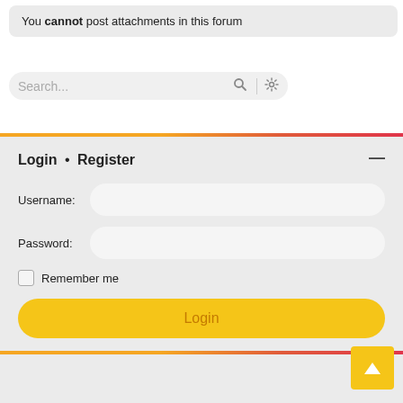You cannot post attachments in this forum
[Figure (screenshot): Search bar with search icon and gear/settings icon, rounded pill shape on light gray background]
Login • Register
Username:
Password:
Remember me
Login